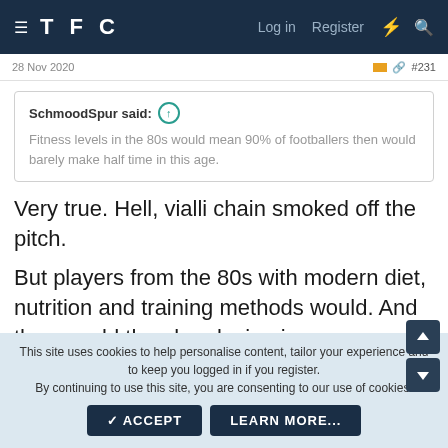TFC  Log in  Register
28 Nov 2020  #231
SchmoodSpur said: Fitness levels in the 80s would mean 90% of footballers then would barely make half time in this age.
Very true. Hell, vialli chain smoked off the pitch.
But players from the 80s with modern diet, nutrition and training methods would. And they would then be playing in a game where defenders couldn't kick them 8 foot in the air just to let them know they're there.
This site uses cookies to help personalise content, tailor your experience and to keep you logged in if you register. By continuing to use this site, you are consenting to our use of cookies.